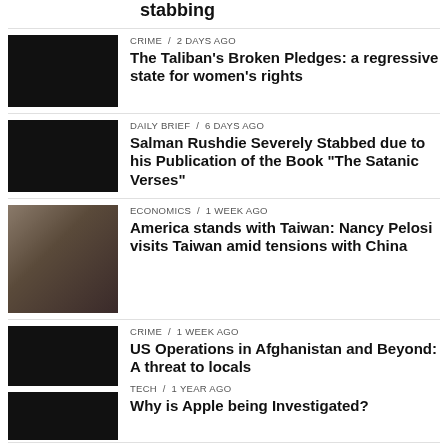stabbing
CRIME / 2 days ago
The Taliban's Broken Pledges: a regressive state for women's rights
DAILY BRIEF / 6 days ago
Salman Rushdie Severely Stabbed due to his Publication of the Book "The Satanic Verses"
ECONOMICS / 1 week ago
America stands with Taiwan: Nancy Pelosi visits Taiwan amid tensions with China
CRIME / 1 week ago
US Operations in Afghanistan and Beyond: A threat to locals
TECH / 1 year ago
Why is Apple being Investigated?
SPORT / 1 year ago
Football – the growing problem of online abuse